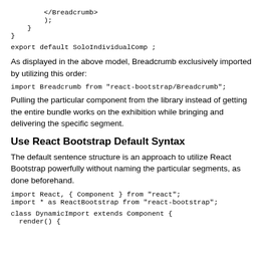</Breadcrumb>
        );
    }
}
export default SoloIndividualComp ;
As displayed in the above model, Breadcrumb exclusively imported by utilizing this order:
import Breadcrumb from "react-bootstrap/Breadcrumb";
Pulling the particular component from the library instead of getting the entire bundle works on the exhibition while bringing and delivering the specific segment.
Use React Bootstrap Default Syntax
The default sentence structure is an approach to utilize React Bootstrap powerfully without naming the particular segments, as done beforehand.
import React, { Component } from "react";
import * as ReactBootstrap from "react-bootstrap";
class DynamicImport extends Component {
  render() {